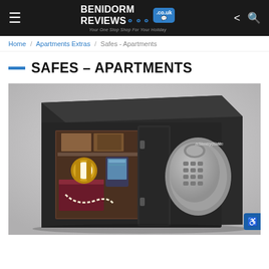Benidorm Reviews .co.uk — Your One Stop Shop For Your Holiday
Home / Apartments Extras / Safes - Apartments
SAFES - APARTMENTS
[Figure (photo): Open SentrySafe electronic combination safe (black) with door ajar, showing interior contents: a gold wristwatch, pearl necklace, red jewelry box, and small electronic device. Silver electronic keypad visible on door front.]